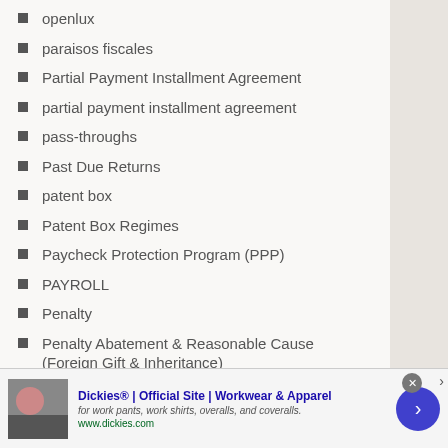openlux
paraisos fiscales
Partial Payment Installment Agreement
partial payment installment agreement
pass-throughs
Past Due Returns
patent box
Patent Box Regimes
Paycheck Protection Program (PPP)
PAYROLL
Penalty
Penalty Abatement & Reasonable Cause (Foreign Gift & Inheritance)